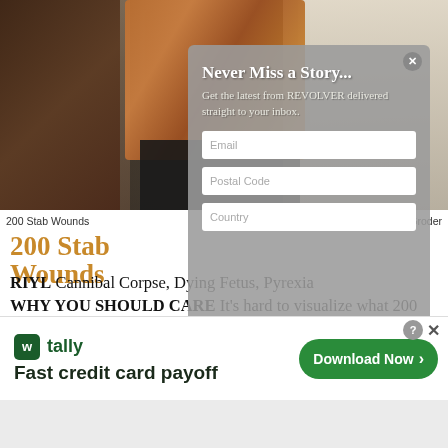[Figure (photo): Photo of 200 Stab Wounds band members seated outdoors, three people visible, one wearing a colorful patterned shirt]
200 Stab Wounds    photograph by Nick McGroder
200 Stab Wounds
RIYL Cannibal Corpse, Dying Fetus, Pyrexia WHY YOU SHOULD CARE It's hard to visualize what 200 knife gashes would even look like without getting queasy, but 200 Stab Wounds the band are here to let us know what such a grim
[Figure (screenshot): Email subscription popup overlay: 'Never Miss a Story... Get the latest from REVOLVER delivered straight to your inbox.' with email and postal code input fields]
[Figure (infographic): Tally advertisement banner: 'Fast credit card payoff' with Download Now button and close/help icons]